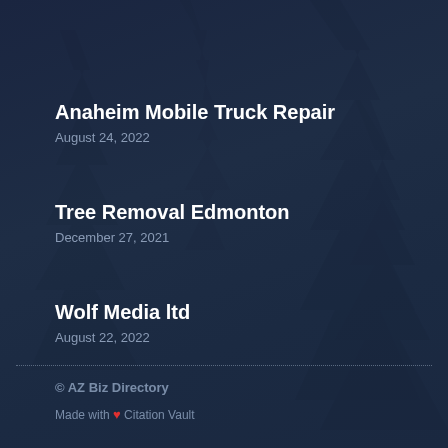Anaheim Mobile Truck Repair
August 24, 2022
Tree Removal Edmonton
December 27, 2021
Wolf Media ltd
August 22, 2022
© AZ Biz Directory
Made with ❤ Citation Vault